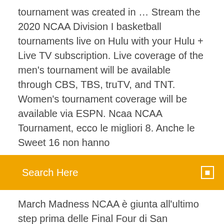tournament was created in ... Stream the 2020 NCAA Division I basketball tournaments live on Hulu with your Hulu + Live TV subscription. Live coverage of the men's tournament will be available through CBS, TBS, truTV, and TNT. Women's tournament coverage will be available via ESPN. Ncaa NCAA Tournament, ecco le migliori 8. Anche le Sweet 16 non hanno
Search Here
March Madness NCAA è giunta all'ultimo step prima delle Final Four di San Antonio, le Elite 8 che si giocheranno tra oggi e domani. Basket, USA: NCAA 2019/2020 risultati dal vivo, calendario, classifiche The 67-game March Madness basketball tournament begins Tuesday, with many court battles taking place during the day when you're, um, supposed to be working. The full NCAA Tournament schedule is below, and you can watch every minute on your iPhone or Android by signing up for a free trial of fuboTV and downloading the ...